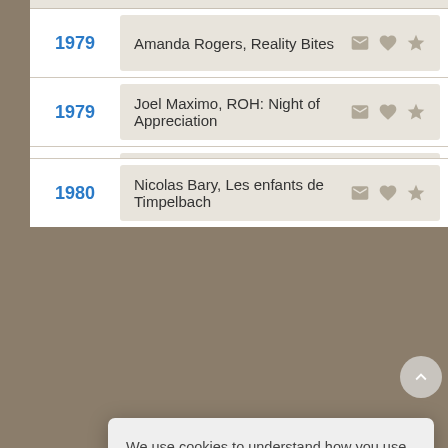1979 — Amanda Rogers, Reality Bites
1979 — Joel Maximo, ROH: Night of Appreciation
1980 — Stuart Taylor, British footballer
We use cookies to understand how you use our site and to improve your experience. This includes personalizing content for you and for the display and tracking of advertising. By continuing to use our site, you accept and agree to our use of cookies. Privacy Policy
1980 — Nicolas Bary, Les enfants de Timpelbach